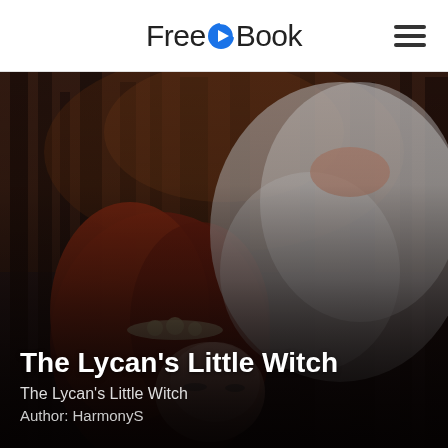FreeEBook
[Figure (photo): A young woman with red hair and a floral headpiece wearing a white flowing dress or veil, photographed in a dark forest setting with a moody, atmospheric style. The image is dark and cinematic with blurred trees in the background.]
The Lycan’s Little Witch
The Lycan’s Little Witch
Author: HarmonyS